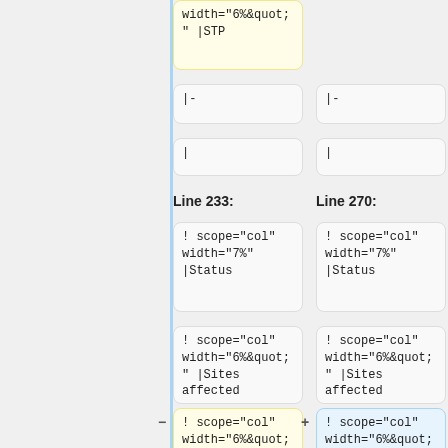width="6%&quot;" |STP
width="6%&quot;" | STP
|-
|-
|
|
Line 233:
Line 270:
! scope="col" width="7%" |Status
! scope="col" width="7%" |Status
! scope="col" width="6%&quot;" |Sites affected
! scope="col" width="6%&quot;" |Sites affected
! scope="col" width="6%&quot;" |Subscribers affected
! scope="col" width="6%&quot;" | Subscribers affected
! scope="col" width="6%&quot;" | STP
! scope="col" width="6%&quot;" | STP